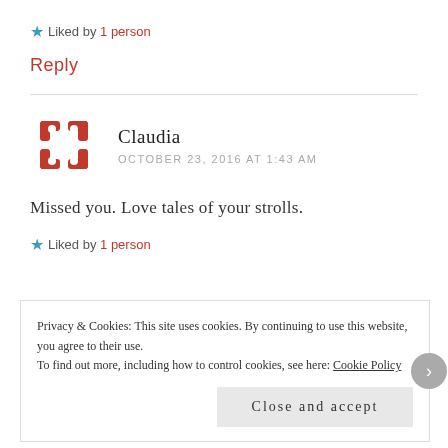★ Liked by 1 person
Reply
Claudia
OCTOBER 23, 2016 AT 1:43 AM
Missed you. Love tales of your strolls.
★ Liked by 1 person
Privacy & Cookies: This site uses cookies. By continuing to use this website, you agree to their use.
To find out more, including how to control cookies, see here: Cookie Policy
Close and accept